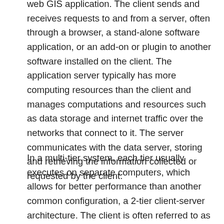web GIS application. The client sends and receives requests to and from a server, often through a browser, a stand-alone software application, or an add-on or plugin to another software installed on the client. The application server typically has more computing resources than the client and manages computations and resources such as data storage and internet traffic over the networks that connect to it. The server communicates with the data server, storing and retrieving the information collected or requested by the client.
In a multi-tier system, each tier usually executes on separate computers, which allows for better performance than another common configuration, a 2-tier client-server architecture. The client is often referred to as thin versus fat. A thin client depends